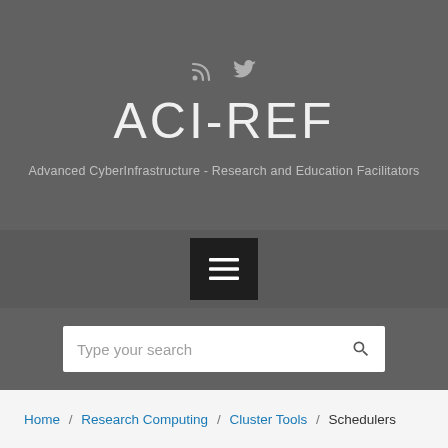ACI-REF — Advanced CyberInfrastructure - Research and Education Facilitators
Type your search
Home / Research Computing / Cluster Tools / Schedulers
Schedulers